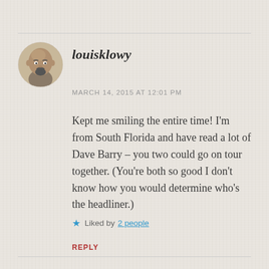[Figure (photo): Circular avatar photo of a bald man with a beard]
louisklowy
MARCH 14, 2015 AT 12:01 PM
Kept me smiling the entire time! I'm from South Florida and have read a lot of Dave Barry – you two could go on tour together. (You're both so good I don't know how you would determine who's the headliner.)
★ Liked by 2 people
REPLY